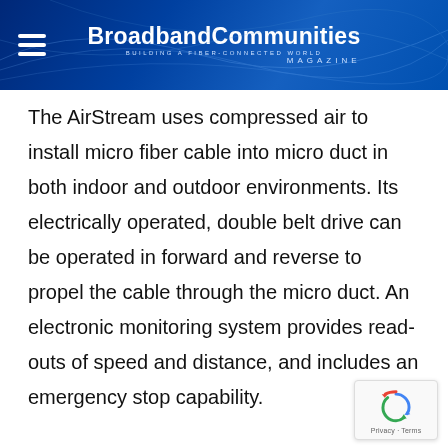BroadbandCommunities BUILDING A FIBER-CONNECTED WORLD MAGAZINE
The AirStream uses compressed air to install micro fiber cable into micro duct in both indoor and outdoor environments. Its electrically operated, double belt drive can be operated in forward and reverse to propel the cable through the micro duct. An electronic monitoring system provides read-outs of speed and distance, and includes an emergency stop capability.